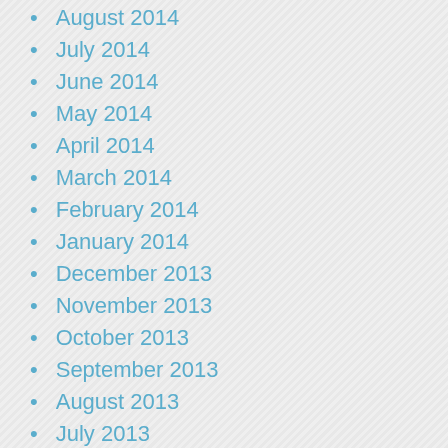August 2014
July 2014
June 2014
May 2014
April 2014
March 2014
February 2014
January 2014
December 2013
November 2013
October 2013
September 2013
August 2013
July 2013
June 2013
May 2013
April 2013
January 2013
December 2012